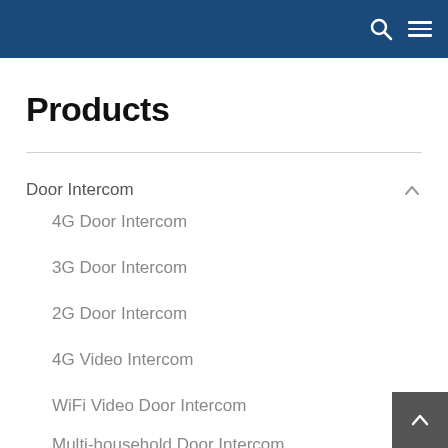Products
Door Intercom
4G Door Intercom
3G Door Intercom
2G Door Intercom
4G Video Intercom
WiFi Video Door Intercom
Multi-household Door Intercom